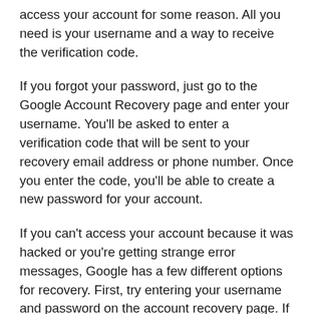access your account for some reason. All you need is your username and a way to receive the verification code.
If you forgot your password, just go to the Google Account Recovery page and enter your username. You'll be asked to enter a verification code that will be sent to your recovery email address or phone number. Once you enter the code, you'll be able to create a new password for your account.
If you can't access your account because it was hacked or you're getting strange error messages, Google has a few different options for recovery. First, try entering your username and password on the account recovery page. If that doesn't work, you can try answering your security questions or using a recovery code that you previously set up. If you still can't access your account, you can fill